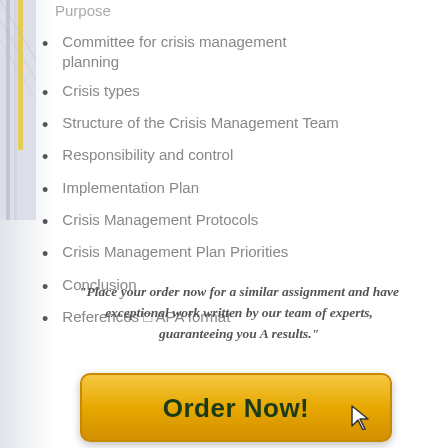Purpose
Committee for crisis management planning
Crisis types
Structure of the Crisis Management Team
Responsibility and control
Implementation Plan
Crisis Management Protocols
Crisis Management Plan Priorities
Conclusion
References □ APA format
"Place your order now for a similar assignment and have exceptional work written by our team of experts, guaranteeing you A results."
[Figure (other): Orange gradient Order Now! button with cursor icon]